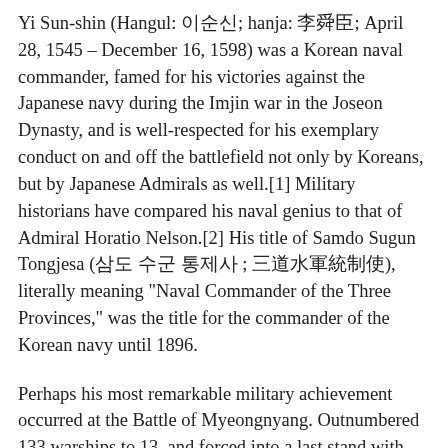Yi Sun-shin (Hangul: 이순신; hanja: 李舜臣; April 28, 1545 – December 16, 1598) was a Korean naval commander, famed for his victories against the Japanese navy during the Imjin war in the Joseon Dynasty, and is well-respected for his exemplary conduct on and off the battlefield not only by Koreans, but by Japanese Admirals as well.[1] Military historians have compared his naval genius to that of Admiral Horatio Nelson.[2] His title of Samdo Sugun Tongjesa (삼도 수군 통제사 ; 三道水軍統制使), literally meaning "Naval Commander of the Three Provinces," was the title for the commander of the Korean navy until 1896.
Perhaps his most remarkable military achievement occurred at the Battle of Myeongnyang. Outnumbered 133 warships to 13, and forced into a last stand with only his minimal fleet standing between the Japanese Army and Seoul, he still managed to destroy 33 of 133 Japanese warships in one of the most astonishing battles in military history.